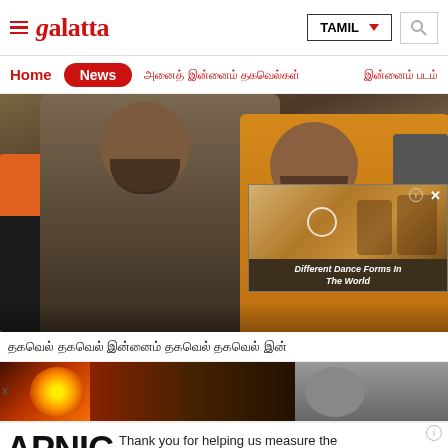galatta — TAMIL (navigation header with logo, language selector, search)
Home
News
Tamil navigation items (Tamil script)
[Figure (photo): Two men smiling on a film set; one in dark clothing, one in orange shirt; workers in background. Overlaid video thumbnail showing dancers with caption 'Different Dance Forms In The World']
Tamil script headline (truncated)
[Figure (photo): Fireball/explosion image on left; grayscale image on right]
APNIC — Thank you for helping us measure the Internet.